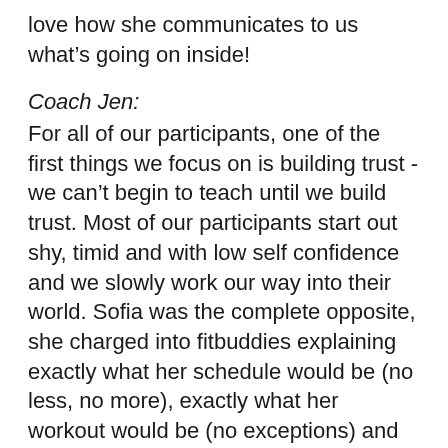love how she communicates to us what's going on inside!
Coach Jen:
For all of our participants, one of the first things we focus on is building trust - we can't begin to teach until we build trust. Most of our participants start out shy, timid and with low self confidence and we slowly work our way into their world. Sofia was the complete opposite, she charged into fitbuddies explaining exactly what her schedule would be (no less, no more), exactly what her workout would be (no exceptions) and insisted she would be assisting us in coaching others (from correcting their form to their behaviors). W... are many